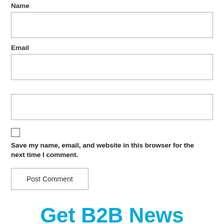Name
Email
Save my name, email, and website in this browser for the next time I comment.
Post Comment
Get B2B News
Subscribe to our Newsletter
Email: